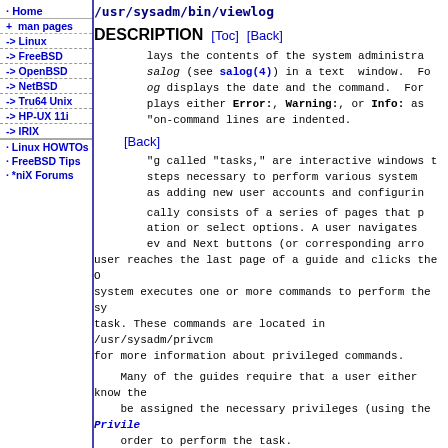/usr/sysadm/bin/viewlog
DESCRIPTION  [Toc]  [Back]
· Home
+ man pages
-> Linux
-> FreeBSD
-> OpenBSD
-> NetBSD
-> Tru64 Unix
-> HP-UX 11i
-> IRIX
· Linux HOWTOs
· FreeBSD Tips
· *niX Forums
displays the contents of the system administra... salog (see salog(4)) in a text window. Fo... og displays the date and the command. For... plays either Error:, Warning:, or Info: as ... on-command lines are indented.
[Back]
...g called "tasks," are interactive windows t... steps necessary to perform various system... as adding new user accounts and configurin...
cally consists of a series of pages that p... ation or select options. A user navigates... ev and Next buttons (or corresponding arro... user reaches the last page of a guide and clicks the O... system executes one or more commands to perform the sy... task. These commands are located in /usr/sysadm/privcm... for more information about privileged commands.
Many of the guides require that a user either know the... be assigned the necessary privileges (using the Privile... order to perform the task.
Set System Administration Log Options
The Set System Administration Log Options...